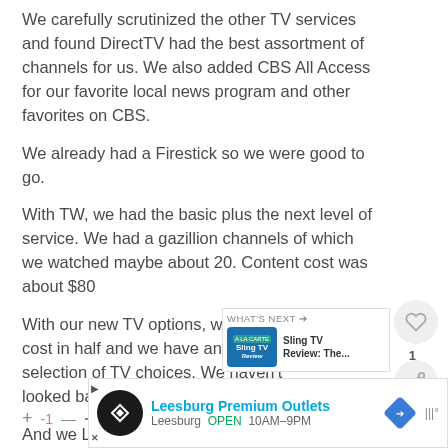We carefully scrutinized the other TV services and found DirectTV had the best assortment of channels for us. We also added CBS All Access for our favorite local news program and other favorites on CBS.
We already had a Firestick so we were good to go.
With TW, we had the basic plus the next level of service. We had a gazillion channels of which we watched maybe about 20. Content cost was about $80
With our new TV options, we have cut our cost in half and we have an amazing selection of TV choices. We haven't looked back since.
And we LOVE the flexibility of no contract.
[Figure (screenshot): Like heart button (gray circle with heart icon) and share button (gray circle with share icon), with count label '1']
[Figure (screenshot): WHAT'S NEXT panel showing Sling TV Review thumbnail and text 'Sling TV Review: The...']
+ -1 — → Reply
[Figure (screenshot): Ad banner for Leesburg Premium Outlets showing logo, location, and hours: Leesburg OPEN 10AM-9PM]